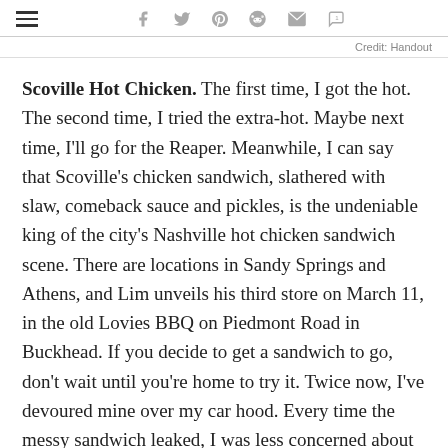≡  f  🐦  p  ♂  ✉  💬
Credit: Handout
Scoville Hot Chicken. The first time, I got the hot. The second time, I tried the extra-hot. Maybe next time, I'll go for the Reaper. Meanwhile, I can say that Scoville's chicken sandwich, slathered with slaw, comeback sauce and pickles, is the undeniable king of the city's Nashville hot chicken sandwich scene. There are locations in Sandy Springs and Athens, and Lim unveils his third store on March 11, in the old Lovies BBQ on Piedmont Road in Buckhead. If you decide to get a sandwich to go, don't wait until you're home to try it. Twice now, I've devoured mine over my car hood. Every time the messy sandwich leaked, I was less concerned about the paint job than losing my